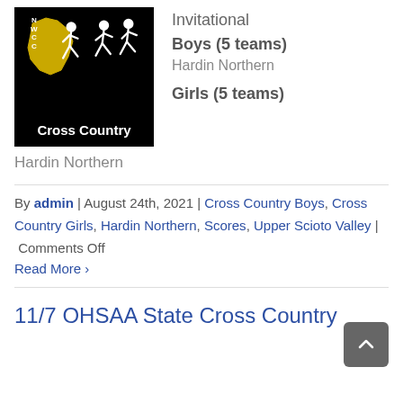[Figure (logo): NWCC Cross Country logo — black background with gold Ohio state outline, white runner silhouettes, text 'Cross Country' at bottom]
Invitational
Boys (5 teams)
Hardin Northern
Girls (5 teams)
Hardin Northern
By admin | August 24th, 2021 | Cross Country Boys, Cross Country Girls, Hardin Northern, Scores, Upper Scioto Valley | Comments Off
Read More ›
11/7 OHSAA State Cross Country Championship